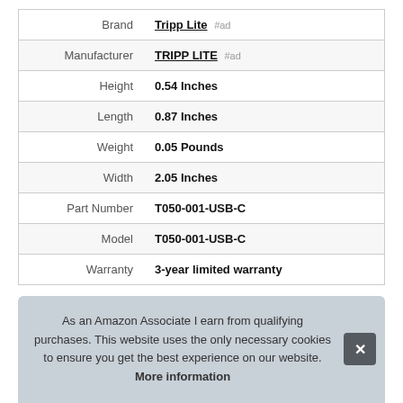| Attribute | Value |
| --- | --- |
| Brand | Tripp Lite #ad |
| Manufacturer | TRIPP LITE #ad |
| Height | 0.54 Inches |
| Length | 0.87 Inches |
| Weight | 0.05 Pounds |
| Width | 2.05 Inches |
| Part Number | T050-001-USB-C |
| Model | T050-001-USB-C |
| Warranty | 3-year limited warranty |
As an Amazon Associate I earn from qualifying purchases. This website uses the only necessary cookies to ensure you get the best experience on our website. More information